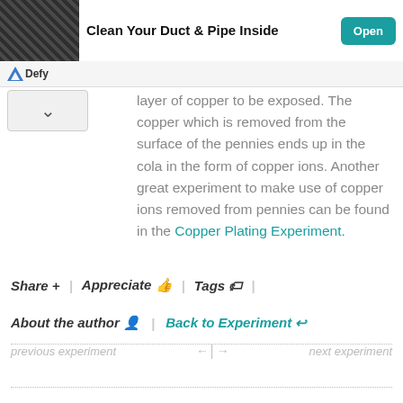[Figure (infographic): Ad banner showing a duct cleaning device photo, text 'Clean Your Duct & Pipe Inside', and an Open button. Defy logo bar below with collapse arrow button.]
layer of copper to be exposed. The copper which is removed from the surface of the pennies ends up in the cola in the form of copper ions. Another great experiment to make use of copper ions removed from pennies can be found in the Copper Plating Experiment.
Share +  |  Appreciate 👍  |  Tags 🏷  |
About the author 🧑  |  Back to Experiment ↩
previous experiment  ←|→  next experiment